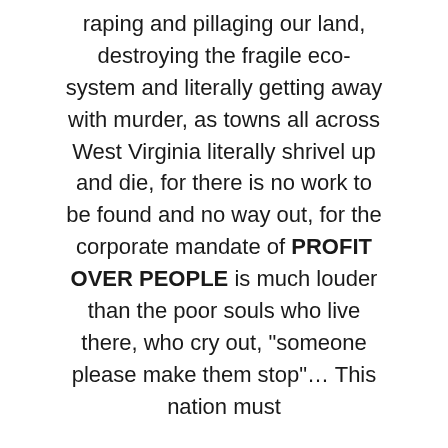raping and pillaging our land, destroying the fragile eco-system and literally getting away with murder, as towns all across West Virginia literally shrivel up and die, for there is no work to be found and no way out, for the corporate mandate of PROFIT OVER PEOPLE is much louder than the poor souls who live there, who cry out, "someone please make them stop"… This nation must